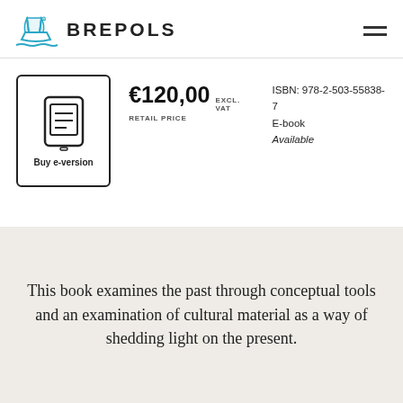[Figure (logo): Brepols publisher logo: a sailing ship in blue outline with waves, followed by the text BREPOLS in bold uppercase]
€120,00 EXCL. VAT
RETAIL PRICE
ISBN: 978-2-503-55838-7
E-book
Available
[Figure (illustration): E-reader / tablet device icon inside a rounded rectangle border, with 'Buy e-version' label below]
This book examines the past through conceptual tools and an examination of cultural material as a way of shedding light on the present.